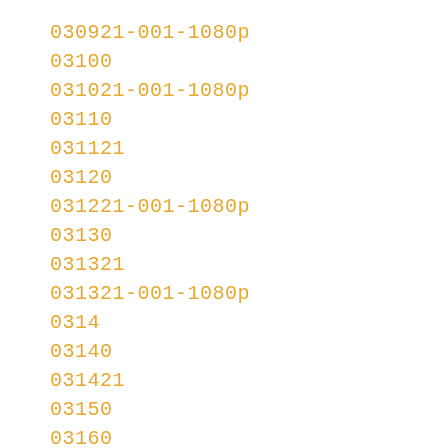030921-001-1080p
03100
031021-001-1080p
03110
031121
03120
031221-001-1080p
03130
031321
031321-001-1080p
0314
03140
031421
03150
03160